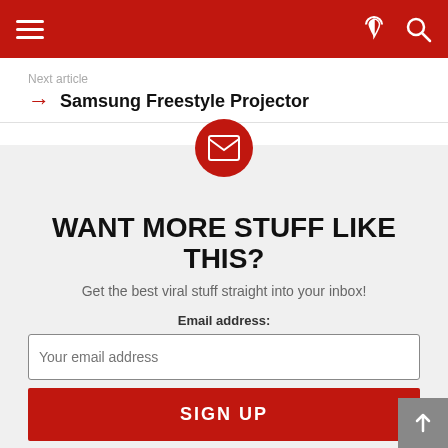≡ [hamburger menu] | [dark mode icon] [search icon]
Next article
Samsung Freestyle Projector
[Figure (illustration): Red circle with white envelope/mail icon]
WANT MORE STUFF LIKE THIS?
Get the best viral stuff straight into your inbox!
Email address:
Your email address
SIGN UP
Don't worry, we don't spam